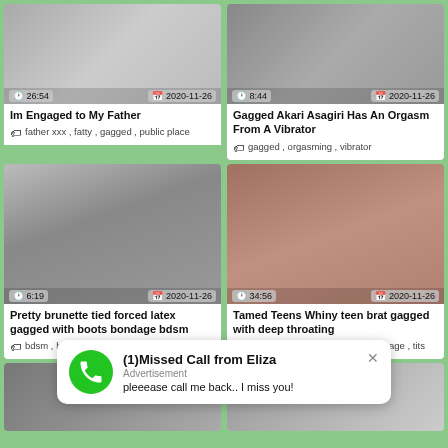[Figure (screenshot): Video thumbnail top-left with overlay showing 26:54 and 2020-11-26]
Im Engaged to My Father
father xxx , fatty , gagged , public place
[Figure (screenshot): Video thumbnail top-right with overlay showing 8:44 and 2020-11-26]
Gagged Akari Asagiri Has An Orgasm From A Vibrator
gagged , orgasming , vibrator
[Figure (screenshot): Video thumbnail middle-left with overlay showing 6:19 and 2020-11-26]
Pretty brunette tied forced latex gagged with boots bondage bdsm
bdsm , bondage , brunette , gagged , pretty
[Figure (screenshot): Video thumbnail middle-right with overlay showing 34:56 and 2020-11-26]
Tamed Teens Whiny teen brat gagged with deep throating
gagged , petite , teen asian , teenage , tits
[Figure (screenshot): Advertisement overlay: (1)Missed Call from Eliza - pleeease call me back.. I miss you!]
[Figure (screenshot): Video thumbnail bottom-left partial]
[Figure (screenshot): Video thumbnail bottom-right partial]